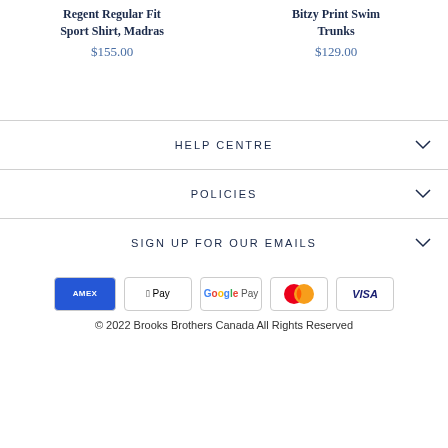Regent Regular Fit Sport Shirt, Madras
$155.00
Bitzy Print Swim Trunks
$129.00
HELP CENTRE
POLICIES
SIGN UP FOR OUR EMAILS
[Figure (other): Payment method icons: American Express, Apple Pay, Google Pay, Mastercard, Visa]
© 2022 Brooks Brothers Canada All Rights Reserved